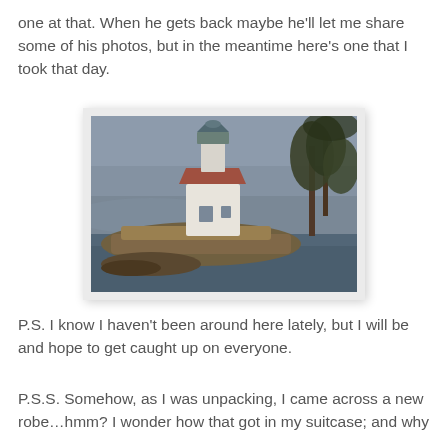one at that. When he gets back maybe he'll let me share some of his photos, but in the meantime here's one that I took that day.
[Figure (photo): Photograph of a lighthouse on a rocky promontory surrounded by water, with trees on the right and an overcast sky. The lighthouse is white with a red/brown roof and green lantern room.]
P.S. I know I haven't been around here lately, but I will be and hope to get caught up on everyone.
P.S.S. Somehow, as I was unpacking, I came across a new robe…hmm? I wonder how that got in my suitcase; and why